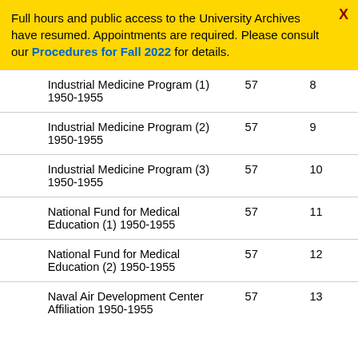Full hours and public access to the University Archives have resumed. Appointments are required. Please consult our Procedures for Fall 2022 for details.
|  | Title | Box | Folder |
| --- | --- | --- | --- |
|  | Industrial Medicine Program (1) 1950-1955 | 57 | 8 |
|  | Industrial Medicine Program (2) 1950-1955 | 57 | 9 |
|  | Industrial Medicine Program (3) 1950-1955 | 57 | 10 |
|  | National Fund for Medical Education (1) 1950-1955 | 57 | 11 |
|  | National Fund for Medical Education (2) 1950-1955 | 57 | 12 |
|  | Naval Air Development Center Affiliation 1950-1955 | 57 | 13 |